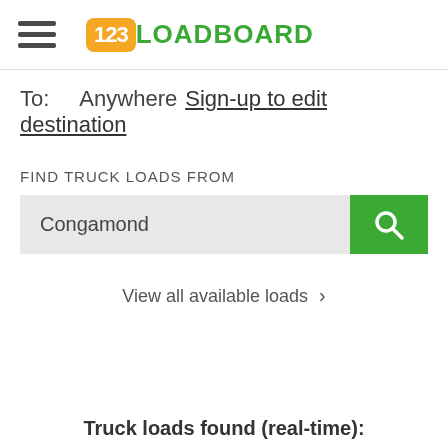[Figure (logo): 123Loadboard logo with orange rounded square containing '123' in white and green text 'LOADBOARD']
To:   Anywhere Sign-up to edit destination
FIND TRUCK LOADS FROM
Congamond
View all available loads >
Truck loads found (real-time):